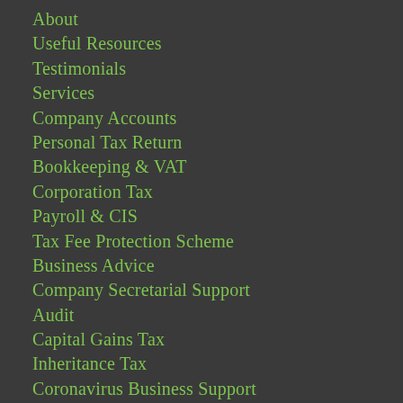About
Useful Resources
Testimonials
Services
Company Accounts
Personal Tax Return
Bookkeeping & VAT
Corporation Tax
Payroll & CIS
Tax Fee Protection Scheme
Business Advice
Company Secretarial Support
Audit
Capital Gains Tax
Inheritance Tax
Coronavirus Business Support
Articles
Contact
Stay informed